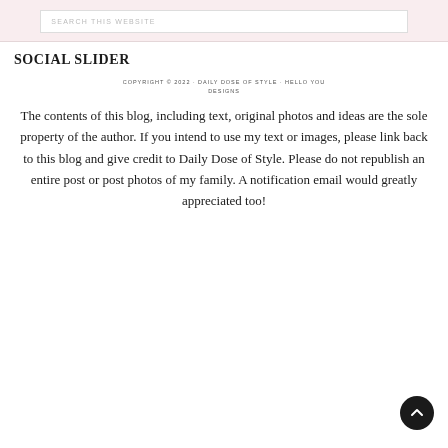SEARCH THIS WEBSITE
SOCIAL SLIDER
COPYRIGHT © 2022 · DAILY DOSE OF STYLE · HELLO YOU DESIGNS
The contents of this blog, including text, original photos and ideas are the sole property of the author. If you intend to use my text or images, please link back to this blog and give credit to Daily Dose of Style. Please do not republish an entire post or post photos of my family. A notification email would be greatly appreciated too!